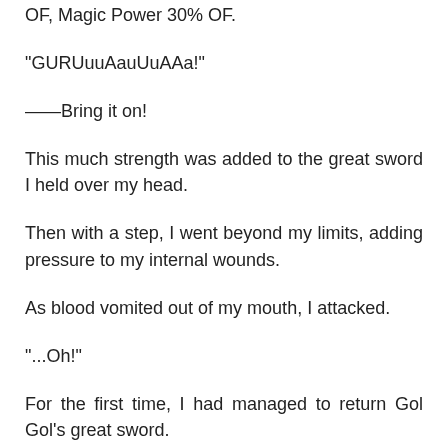OF, Magic Power 30% OF.
“GURUuuAauUuAAa!”
——Bring it on!
This much strength was added to the great sword I held over my head.
Then with a step, I went beyond my limits, adding pressure to my internal wounds.
As blood vomited out of my mouth, I attacked.
“...Oh!”
For the first time, I had managed to return Gol Gol’s great sword.